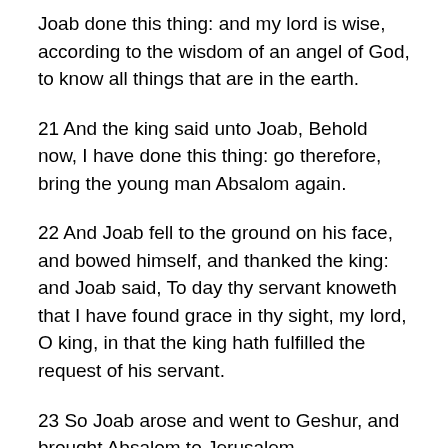Joab done this thing: and my lord is wise, according to the wisdom of an angel of God, to know all things that are in the earth.
21 And the king said unto Joab, Behold now, I have done this thing: go therefore, bring the young man Absalom again.
22 And Joab fell to the ground on his face, and bowed himself, and thanked the king: and Joab said, To day thy servant knoweth that I have found grace in thy sight, my lord, O king, in that the king hath fulfilled the request of his servant.
23 So Joab arose and went to Geshur, and brought Absalom to Jerusalem.
24 And the king said, Let him turn to his own house, and